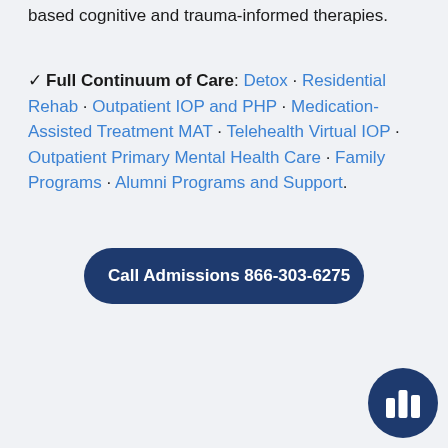based cognitive and trauma-informed therapies.
✓ Full Continuum of Care: Detox · Residential Rehab · Outpatient IOP and PHP · Medication-Assisted Treatment MAT · Telehealth Virtual IOP · Outpatient Primary Mental Health Care · Family Programs · Alumni Programs and Support.
Call Admissions 866-303-6275
[Figure (logo): Dark navy blue circular logo with three white vertical bar chart-like bars of varying heights in the center]